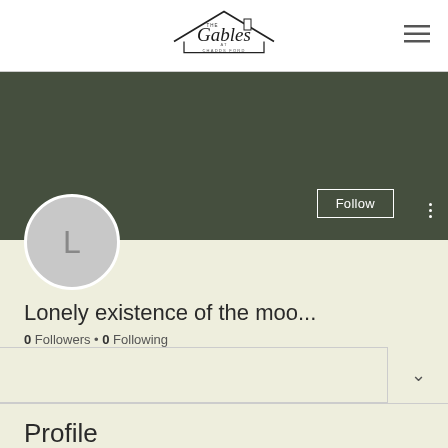[Figure (logo): The Gables at Chadds Ford logo with house roofline illustration and script/serif text]
[Figure (screenshot): User profile banner with dark olive green background, Follow button, three-dot menu, and avatar circle with letter L]
Lonely existence of the moo...
0 Followers • 0 Following
Profile
Join date: Jun 1, 2022